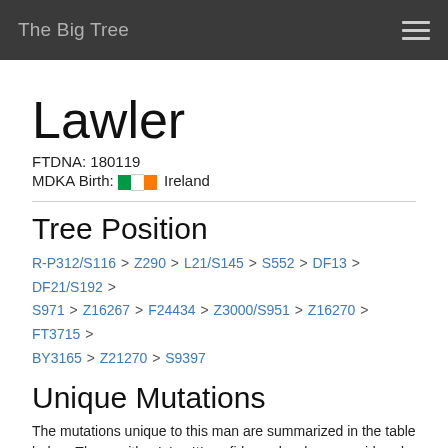The Big Tree
Lawler
FTDNA: 180119
MDKA Birth: Ireland
Tree Position
R-P312/S116 > Z290 > L21/S145 > S552 > DF13 > DF21/S192 > S971 > Z16267 > F24434 > Z3000/S951 > Z16270 > FT3715 > BY3165 > Z21270 > S9397
Unique Mutations
The mutations unique to this man are summarized in the table below. Those with a '+' or '*' confidence level are considered by FamilyTreeDNA or FullGenomesCorp to be high quality SNPs/INDELs. For completeness, all other mutations of lesser